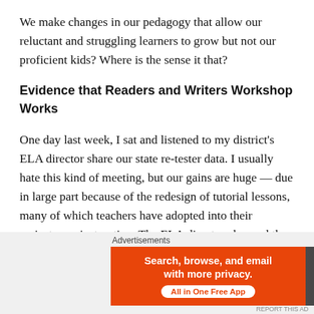We make changes in our pedagogy that allow our reluctant and struggling learners to grow but not our proficient kids? Where is the sense it that?
Evidence that Readers and Writers Workshop Works
One day last week, I sat and listened to my district's ELA director share our state re-tester data. I usually hate this kind of meeting, but our gains are huge — due in large part because of the redesign of tutorial lessons, many of which teachers have adopted into their mainstream instruction. The ELA director changed the model and worked closely with North Star of TX Writing Project to produce writing workshop lessons (most of which came
[Figure (other): DuckDuckGo advertisement banner: orange section with 'Search, browse, and email with more privacy. All in One Free App' and dark section with DuckDuckGo duck logo.]